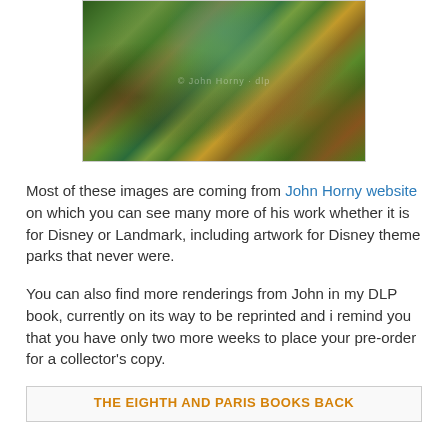[Figure (illustration): Colorful fantasy jungle/adventure artwork depicting a lush landscape with greenery, water, figures, and vibrant scenery — appears to be concept art for a Disney theme park. A faint watermark is visible across the center.]
Most of these images are coming from John Horny website on which you can see many more of his work whether it is for Disney or Landmark, including artwork for Disney theme parks that never were.
You can also find more renderings from John in my DLP book, currently on its way to be reprinted and i remind you that you have only two more weeks to place your pre-order for a collector's copy.
THE EIGHTH AND PARIS BOOKS BACK